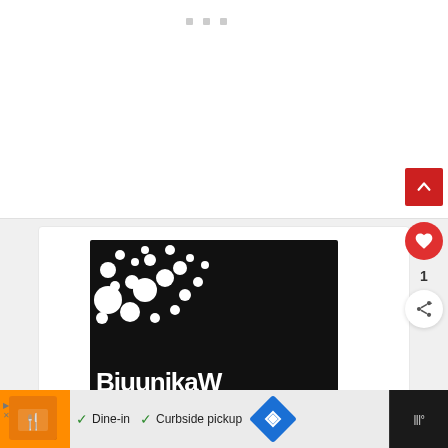[Figure (screenshot): Web page screenshot showing a white top area with three small grey square dots near the top center, a red scroll-to-top button on the right, an article card with a black image featuring white circular dot pattern logo and partial text 'BiuunikaW', a heart/like button showing count of 1, a share button, and a dark advertisement bar at the bottom showing a restaurant ad with 'Dine-in' and 'Curbside pickup' checkmarks and navigation icons.]